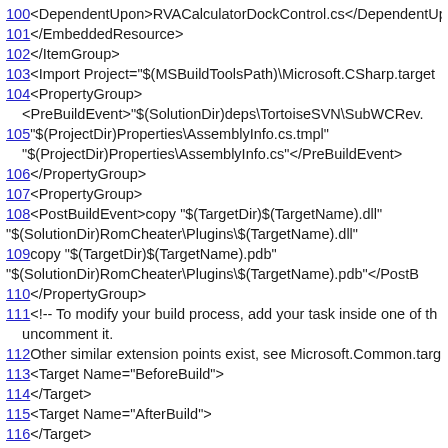100 <DependentUpon>RVACalculatorDockControl.cs</DependentUpon>
101 </EmbeddedResource>
102 </ItemGroup>
103 <Import Project="$(MSBuildToolsPath)\Microsoft.CSharp.target
104 <PropertyGroup>
<PreBuildEvent>"$(SolutionDir)deps\TortoiseSVN\SubWCRev.
105 "$(ProjectDir)Properties\AssemblyInfo.cs.tmpl"
"$(ProjectDir)Properties\AssemblyInfo.cs"</PreBuildEvent>
106 </PropertyGroup>
107 <PropertyGroup>
108 <PostBuildEvent>copy "$(TargetDir)$(TargetName).dll"
"$(SolutionDir)RomCheater\Plugins\$(TargetName).dll"
109 copy "$(TargetDir)$(TargetName).pdb"
"$(SolutionDir)RomCheater\Plugins\$(TargetName).pdb"</PostB
110 </PropertyGroup>
111 <!-- To modify your build process, add your task inside one of th
uncomment it.
112 Other similar extension points exist, see Microsoft.Common.targ
113 <Target Name="BeforeBuild">
114 </Target>
115 <Target Name="AfterBuild">
116 </Target>
117 -->
118 </Project>
Powered by ViewVC 1.3.0-dev